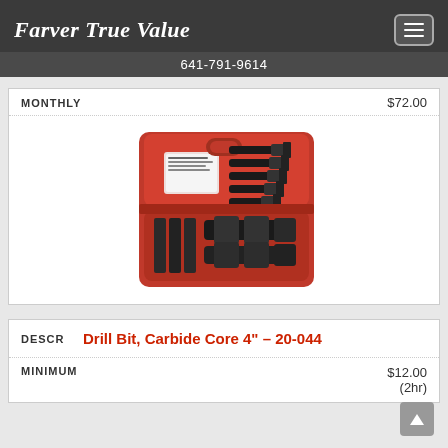Farver True Value
641-791-9614
MONTHLY  $72.00
[Figure (photo): Red carrying case open showing multiple carbide core drill bits arranged inside, viewed at an angle]
| DESCR | Drill Bit, Carbide Core 4" – 20-044 |
| --- | --- |
| MINIMUM | $12.00
(2hr) |
MINIMUM  $12.00 (2hr)